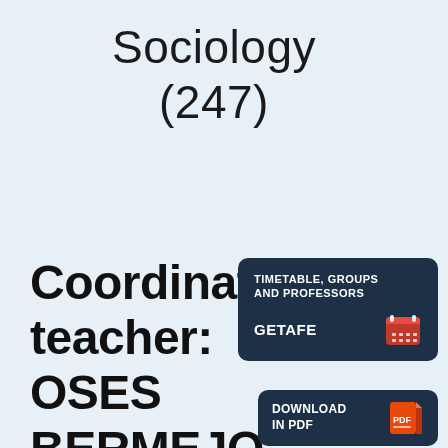Sociology (247)
Coordinating teacher: OSES BERMEJO,
[Figure (infographic): Dark navy button/badge with text 'TIMETABLE, GROUPS AND PROFESSORS' and 'GETAFE' with a calendar icon]
[Figure (infographic): Dark navy button/badge with text 'DOWNLOAD IN PDF' with an orange PDF file icon]